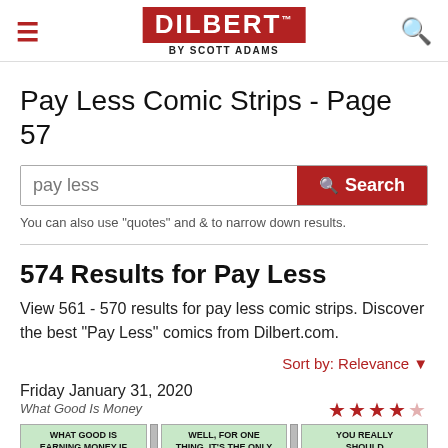DILBERT by SCOTT ADAMS
Pay Less Comic Strips - Page 57
You can also use "quotes" and & to narrow down results.
574 Results for Pay Less
View 561 - 570 results for pay less comic strips. Discover the best "Pay Less" comics from Dilbert.com.
Sort by: Relevance
Friday January 31, 2020
What Good Is Money
[Figure (illustration): Three comic strip panels from Dilbert. Panel 1 text: WHAT GOOD IS EARNING MONEY IF. Panel 2 text: WELL, FOR ONE THING, IT'S THE ONLY. Panel 3 text: YOU REALLY SHOULD.]